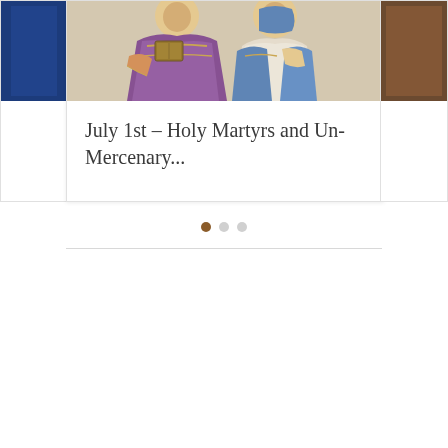[Figure (illustration): Byzantine icon painting showing two figures in purple and blue robes holding a book/scripture, partially visible on left and right edges are adjacent slides]
July 1st – Holy Martyrs and Un-Mercenary...
[Figure (other): Carousel navigation dots: one filled brown (active), two grey (inactive)]